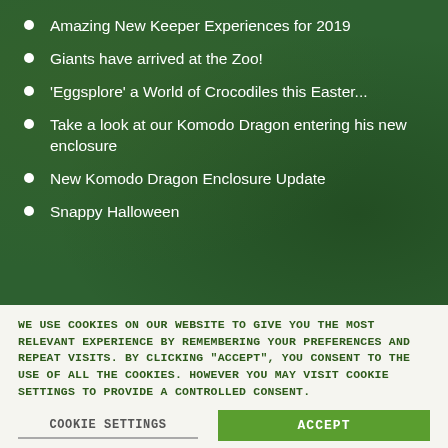Amazing New Keeper Experiences for 2019
Giants have arrived at the Zoo!
‘Eggsplore’ a World of Crocodiles this Easter...
Take a look at our Komodo Dragon entering his new enclosure
New Komodo Dragon Enclosure Update
Snappy Halloween
WE USE COOKIES ON OUR WEBSITE TO GIVE YOU THE MOST RELEVANT EXPERIENCE BY REMEMBERING YOUR PREFERENCES AND REPEAT VISITS. BY CLICKING “ACCEPT”, YOU CONSENT TO THE USE OF ALL THE COOKIES. HOWEVER YOU MAY VISIT COOKIE SETTINGS TO PROVIDE A CONTROLLED CONSENT.
COOKIE SETTINGS
ACCEPT